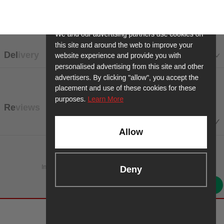[Figure (screenshot): Cookie consent modal overlay on a dark background, partially covering a website. Modal has dark background (#2a2a2a), title 'This Site Uses Cookies', body text explaining cookie usage, a red 'Allow x' link, body paragraph with 'Learn More' in red, and two buttons: white 'Allow' button and dark 'Deny' button with outline.]
This Site Uses Cookies
We and our advertising partners use cookies on this site and around the web to improve your website experience and provide you with personalised advertising from this site and other advertisers. By clicking "allow", you accept the placement and use of these cookies for these purposes. Learn More
Allow
Deny
Do you have a question?
Instant access to experts who can answer your questions.
CALL +44 (0)1556 610167